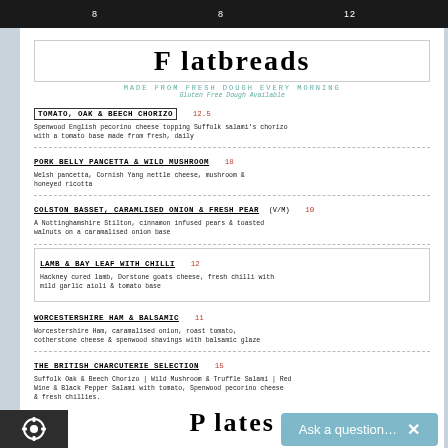8  8  12
Flatbreads
MADE FROM FRESH DOUGH EVERY MORNING
Gluten Free Dough Available
TOMATO, OAK & BEECH CHORIZO  12.5
Spenwood English pecorino cheese topping Suffolk salami's chorizo with a tomato base made from fresh, daily
PORK BELLY PANCETTA & WILD MUSHROOM  18
Welsh pancetta, Cornish Yang nettle cheese, mushroom & honeyed ricotta
COLSTON BASSET, CARAMLISED ONION & FRESH PEAR (V/M)  10
A Nottinghamshire Stilton, cinnamon infused pears & toasted walnuts on a caramalised onion base
LAMB & BAY LEAF WITH CHILLI  12
Hackney cured lamb, Dorstone goats cheese, fresh chilli with mild garlic aioli & tomato base
WORCESTERSHIRE HAM & BALSAMIC  11
Worcestershire Ham, caramalised onion, roast tomato, cotherstone cheese & spenwood shavings with balsamic glaze
THE BRITISH CHARCUTERIE SELECTION  15
Suffolk Oak & Beech Chorizo | Wild Mushroom & Truffle Salami | Red Wine & Black Pepper Salami with tomato, Spenwood pecorino cheese & fresh chillies.
Plates
BROCCOLI & STILTON SOUP (V)  6
Made with Colston Basset stilton, farm house butter, leeks, potato & double cream, served with artisan bre...
COLSTON BASSET, WALNUT, PEAR & MOU...
[Figure (illustration): Olive branch botanical illustration]
TWO C...
SHOWCA...
SMOKED DUCK...
Welsh free range...
fresh ricotta & p...
GAME, BRAMBL...
Wild Scottish ven...
with bramble & r...
DORSTONE GOA'...
Light sherbet goa...
black olives & ch...
BEEF BRESAOL...
Yorkshire Beef br...
orange & pumpki...
CHILLI CHORIZO...
Cornish chilli ch...
PORK BELLY PA...
Montgomery's ch...